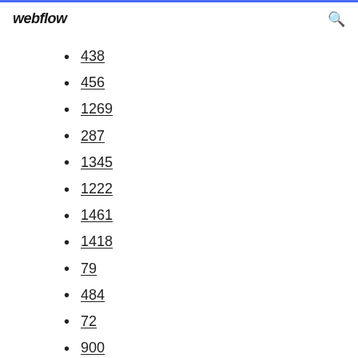webflow
438
456
1269
287
1345
1222
1461
1418
79
484
72
900